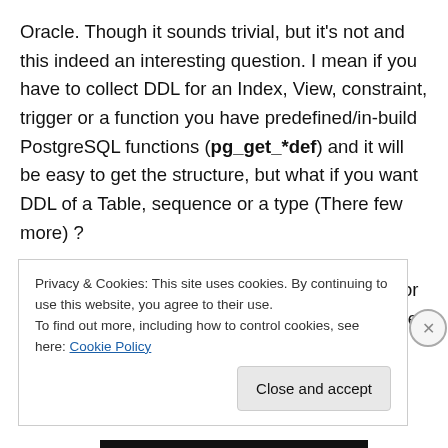Oracle. Though it sounds trivial, but it's not and this indeed an interesting question. I mean if you have to collect DDL for an Index, View, constraint, trigger or a function you have predefined/in-build PostgreSQL functions (pg_get_*def) and it will be easy to get the structure, but what if you want DDL of a Table, sequence or a type (There few more) ?

You might be thinking of doing concatenations or by doing some coding, and yes that can be done but that will be tricky and complicated. So there isn't any direct way of
Privacy & Cookies: This site uses cookies. By continuing to use this website, you agree to their use.
To find out more, including how to control cookies, see here: Cookie Policy

Close and accept